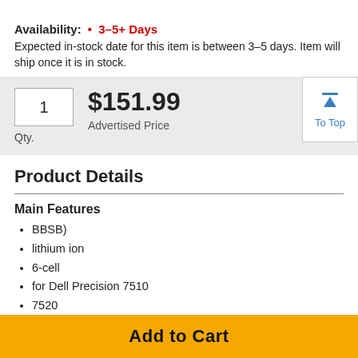Availability: • 3–5+ Days
Expected in-stock date for this item is between 3–5 days. Item will ship once it is in stock.
1  $151.99  Advertised Price  Qty.
Product Details
Main Features
BBSB)
lithium ion
6-cell
for Dell Precision 7510
7520
Add to Cart